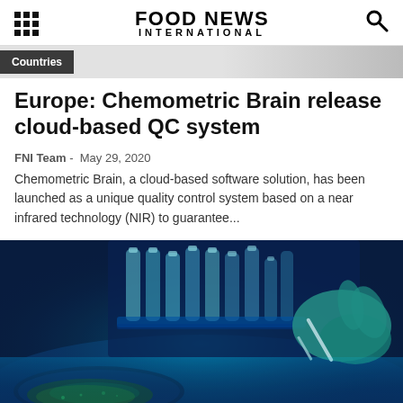FOOD NEWS INTERNATIONAL
Countries
Europe: Chemometric Brain release cloud-based QC system
FNI Team  -  May 29, 2020
Chemometric Brain, a cloud-based software solution, has been launched as a unique quality control system based on a near infrared technology (NIR) to guarantee...
[Figure (photo): Laboratory photo showing gloved hands working with test tubes and a petri dish under blue UV light, with rows of test tubes in the background]